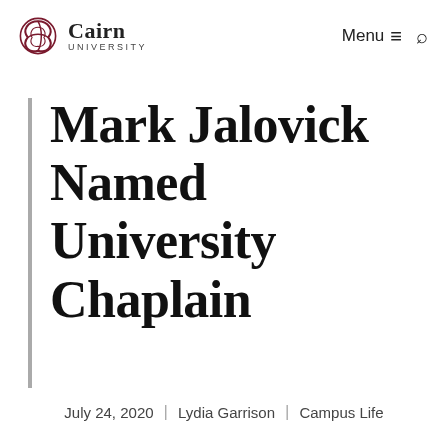Cairn University | Menu | Search
Mark Jalovick Named University Chaplain
July 24, 2020 | Lydia Garrison | Campus Life